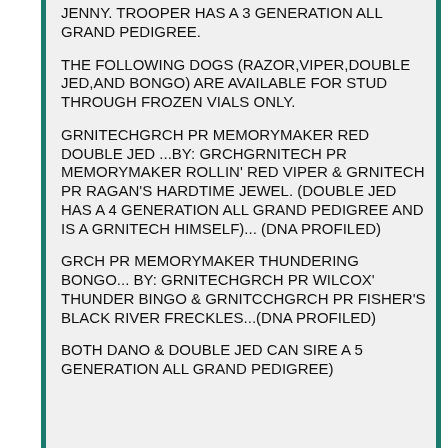JENNY. TROOPER HAS A 3 GENERATION ALL GRAND PEDIGREE.
THE FOLLOWING DOGS (RAZOR,VIPER,DOUBLE JED,AND BONGO) ARE AVAILABLE FOR STUD THROUGH FROZEN VIALS ONLY.
GRNITECHGRCH PR MEMORYMAKER RED DOUBLE JED ...BY: GRCHGRNITECH PR MEMORYMAKER ROLLIN' RED VIPER & GRNITECH PR RAGAN'S HARDTIME JEWEL. (DOUBLE JED HAS A 4 GENERATION ALL GRAND PEDIGREE AND IS A GRNITECH HIMSELF)... (DNA PROFILED)
GRCH PR MEMORYMAKER THUNDERING BONGO... BY: GRNITECHGRCH PR WILCOX' THUNDER BINGO & GRNITCCHGRCH PR FISHER'S BLACK RIVER FRECKLES...(DNA PROFILED)
BOTH DANO & DOUBLE JED CAN SIRE A 5 GENERATION ALL GRAND PEDIGREE)